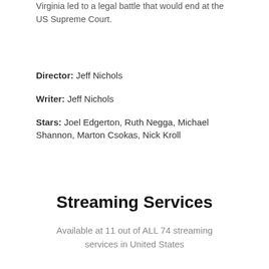Virginia led to a legal battle that would end at the US Supreme Court.
Director: Jeff Nichols
Writer: Jeff Nichols
Stars: Joel Edgerton, Ruth Negga, Michael Shannon, Marton Csokas, Nick Kroll
Streaming Services
Available at 11 out of ALL 74 streaming services in United States